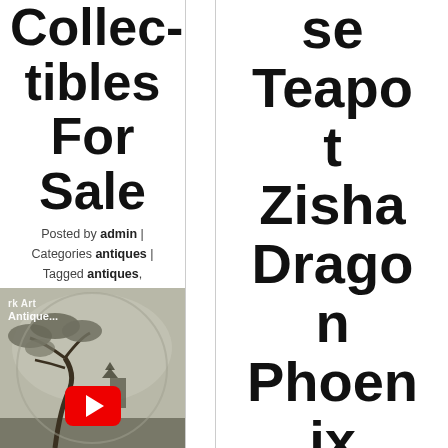Collectibles For Sale
Posted by admin | Categories antiques | Tagged antiques, collectibles, sale
[Figure (screenshot): YouTube video thumbnail showing a bonsai tree with pagoda landscape, labeled 'rk Art Antique...' with red YouTube play button]
se Teapot Zisha Dragon Phoenix Patter